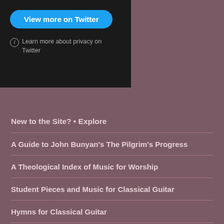[Figure (screenshot): Twitter embed widget with dark background showing a 'View more on Twitter' blue button and a 'Learn more about privacy on Twitter' link with info icon]
New to the Site? • Explore
A Guide to John Bunyan's The Pilgrim's Progress
A Theological Index of Music for Worship
Student Pieces and Music for Classical Guitar
Hymns for Classical Guitar
Christmas Music for Classical Guitar